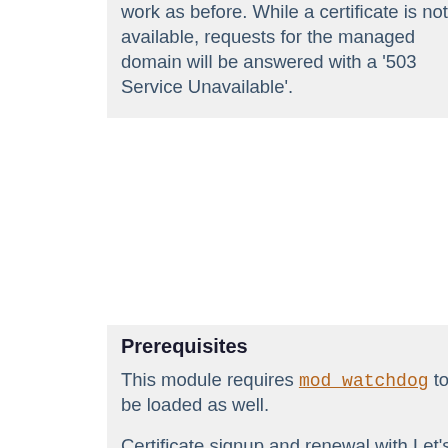work as before. While a certificate is not available, requests for the managed domain will be answered with a '503 Service Unavailable'.
Prerequisites
This module requires mod_watchdog to be loaded as well.
Certificate signup and renewal with Let's Encrypt requires your server to be reachable on port 80 (http:) from the outside. The alternative method over port 443 (https:) is currently disabled for security reasons (status from 2018-01-